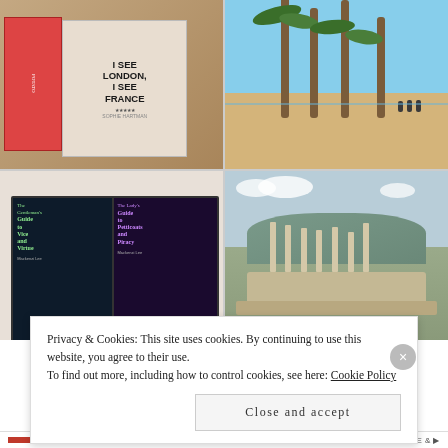[Figure (photo): 2x2 photo grid: top-left shows books including 'I See London I See France' cover, top-right shows a beach scene with palm trees, bottom-left shows two book covers 'The Gentleman's Guide to Vice and Virtue' and 'The Lady's Guide to Petticoats and Piracy' by Mackenzi Lee, bottom-right shows ancient ruins with columns and mountains]
Privacy & Cookies: This site uses cookies. By continuing to use this website, you agree to their use.
To find out more, including how to control cookies, see here: Cookie Policy
Close and accept